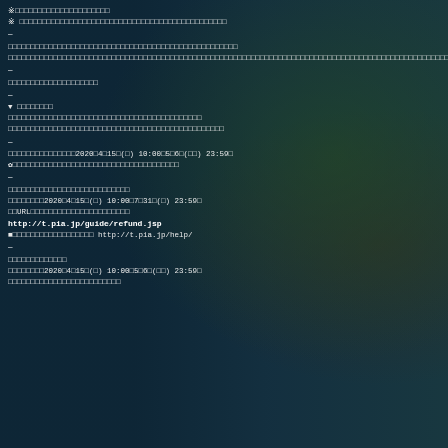※□□□□□□□□□□□□□□□□□□□□□
※ □□□□□□□□□□□□□□□□□□□□□□□□□□□□□
—
□□□□□□□□□□□□□□□□□□□□□□□□□□□□□□□□□□□□□□□□□□□□□□□□□
□□□□□□□□□□□□□□□□□□□□□□□□□□□□□□□□□□□□□□□□□□□□□□□□□□□□□□□□□□□□□□□□□□□□□□□□□□□□□□□□□□□□□□□□□□□□□□□□□□□□□□□□□□□□□□□□□□□□□□□□
—
□□□□□□□□□□□□□□□□□□□
—
▼ □□□□□□□□
□□□□□□□□□□□□□□□□□□□□□□□□□□□□□□□□□□□□□□□□□□
□□□□□□□□□□□□□□□□□□□□□□□□□□□□□□□□□□□□□□□□□□□□□
—
□□□□□□□□□□□□□□2020□4□15□(□) 10:00□5□6□(□□) 23:59□
✿□□□□□□□□□□□□□□□□□□□□□□□□□□□□□
—
□□□□□□□□□□□□□□□□□□□□□□□
□□□□□□□2020□4□15□(□) 10:00□7□31□(□) 23:59□
□□URL□□□□□□□□□□□□□□□□□□□□□
http://t.pia.jp/guide/refund.jsp
■□□□□□□□□□□□□□□□□□□ http://t.pia.jp/help/
—
□□□□□□□□□□□□□
□□□□□□□2020□4□15□(□) 10:00□5□6□(□□) 23:59□
□□□□□□□□□□□□□□□□□□□□□